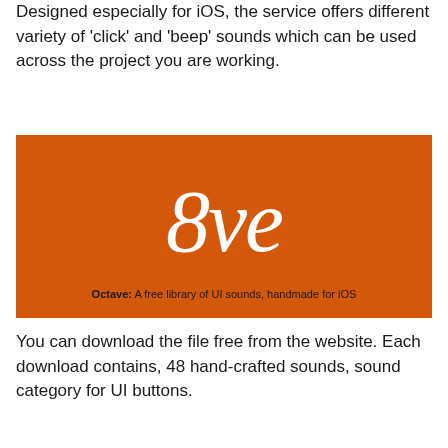Designed especially for iOS, the service offers different variety of 'click' and 'beep' sounds which can be used across the project you are working.
[Figure (logo): Orange background banner with large italic serif text '8ve' in white, and subtitle 'Octave: A free library of UI sounds, handmade for iOS']
You can download the file free from the website. Each download contains, 48 hand-crafted sounds, sound category for UI buttons.